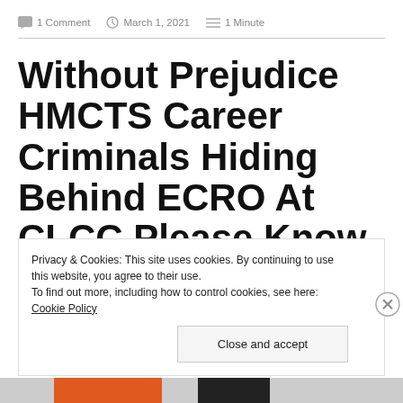1 Comment   March 1, 2021   1 Minute
Without Prejudice HMCTS Career Criminals Hiding Behind ECRO At CLCC Please Know When Slavery Was
Privacy & Cookies: This site uses cookies. By continuing to use this website, you agree to their use.
To find out more, including how to control cookies, see here: Cookie Policy